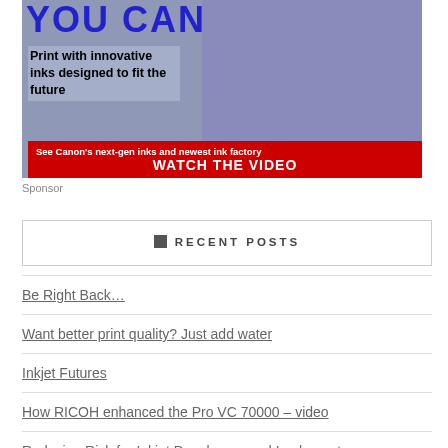[Figure (illustration): Canon advertisement showing 'YOU CAN' text with image of printing, text 'Print with innovative inks designed to fit the future', red bar with 'See Canon's next-gen inks and newest ink factory' and 'WATCH THE VIDEO']
Sponsor
RECENT POSTS
Be Right Back…
Want better print quality? Just add water
Inkjet Futures
How RICOH enhanced the Pro VC 70000 – video
Reducing Risk for Inkjet Developers and Implementers